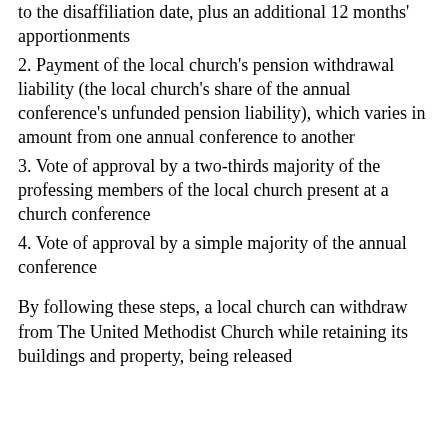1. Payment of the 12 months' apportionments prior to the disaffiliation date, plus an additional 12 months' apportionments
2. Payment of the local church's pension withdrawal liability (the local church's share of the annual conference's unfunded pension liability), which varies in amount from one annual conference to another
3. Vote of approval by a two-thirds majority of the professing members of the local church present at a church conference
4. Vote of approval by a simple majority of the annual conference
By following these steps, a local church can withdraw from The United Methodist Church while retaining its buildings and property, being released